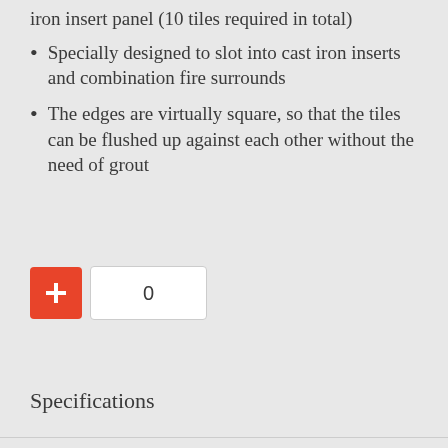iron insert panel (10 tiles required in total)
Specially designed to slot into cast iron inserts and combination fire surrounds
The edges are virtually square, so that the tiles can be flushed up against each other without the need of grout
[Figure (screenshot): Add to basket button (red plus icon) and quantity input box showing 0]
Specifications